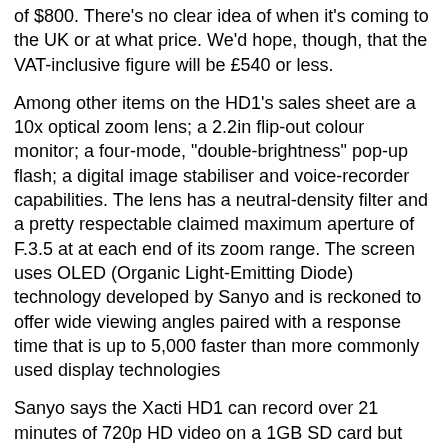of $800. There's no clear idea of when it's coming to the UK or at what price. We'd hope, though, that the VAT-inclusive figure will be £540 or less.
Among other items on the HD1's sales sheet are a 10x optical zoom lens; a 2.2in flip-out colour monitor; a four-mode, "double-brightness" pop-up flash; a digital image stabiliser and voice-recorder capabilities. The lens has a neutral-density filter and a pretty respectable claimed maximum aperture of F.3.5 at at each end of its zoom range. The screen uses OLED (Organic Light-Emitting Diode) technology developed by Sanyo and is reckoned to offer wide viewing angles paired with a response time that is up to 5,000 faster than more commonly used display technologies
Sanyo says the Xacti HD1 can record over 21 minutes of 720p HD video on a 1GB SD card but more than twice that amount if opting for standard def (640 x 480) capture at 30fps progressive. Clearly, owners of HD1s are going to need a number of large-capacity SD cards and that's not good news given that, although card prices continue to fall, larger-capacity models tend to lag behind smaller cards.
Also on the camcorder's features list are one-handed shooting, red-eye reduction mode, lithium-ion battery,